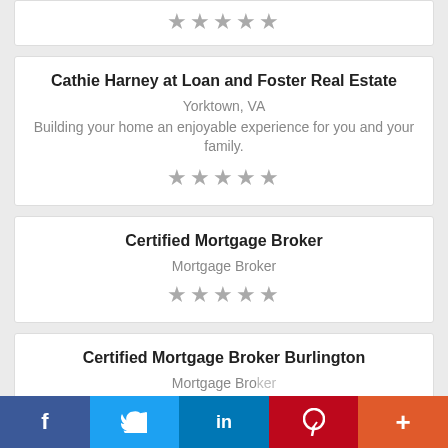[Figure (other): Five grey star rating icons in a row]
Cathie Harney at Loan and Foster Real Estate
Yorktown, VA
Building your home an enjoyable experience for you and your family.
[Figure (other): Five grey star rating icons in a row]
Certified Mortgage Broker
Mortgage Broker
[Figure (other): Five grey star rating icons in a row]
Certified Mortgage Broker Burlington
Mortgage Broker
f  Twitter  in  P  +